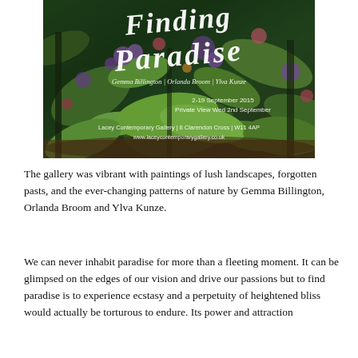[Figure (illustration): Exhibition poster for 'Finding Paradise' at Lacey Contemporary Gallery. Shows a lush, richly coloured painting of tropical/jungle foliage in greens, purples, and pinks. Overlaid white script text reads 'Finding Paradise' with artist names 'Gemma Billington | Orlanda Broom | Ylva Kunze', dates '2-19 September 2015', 'Private View Wed 2nd September', and gallery details 'Lacey Contemporary Gallery | 8 Clarendon Cross | W11 4AP' and 'www.laceycontemporarygallery.co.uk'.]
The gallery was vibrant with paintings of lush landscapes, forgotten pasts, and the ever-changing patterns of nature by Gemma Billington, Orlanda Broom and Ylva Kunze.
We can never inhabit paradise for more than a fleeting moment. It can be glimpsed on the edges of our vision and drive our passions but to find paradise is to experience ecstasy and a perpetuity of heightened bliss would actually be torturous to endure. Its power and attraction